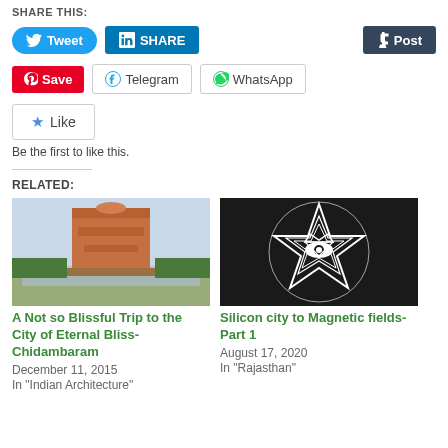SHARE THIS:
Tweet | SHARE | Post
Save | Telegram | WhatsApp
Like
Be the first to like this.
RELATED:
[Figure (photo): Photo of a South Indian temple gopuram with a tank/pond in front, surrounded by trees]
A Not so Blissful Trip to the City of Eternal Bliss-Chidambaram
December 11, 2015
In "Indian Architecture"
[Figure (illustration): Black and white geometric illustration with a star/mandala pattern containing an eye symbol, with text around the border]
Silicon city to Magnetic fields- Part 1
August 17, 2020
In "Rajasthan"